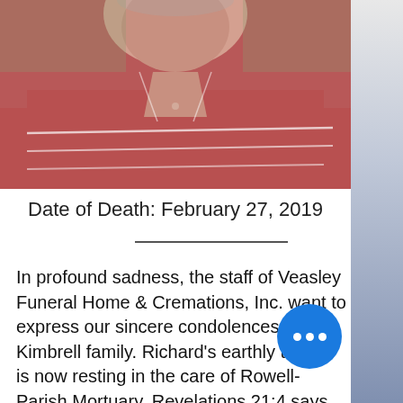[Figure (photo): Partial photo of a man wearing a red/pink polo shirt with white stripes, outdoors background]
Date of Death: February 27, 2019
In profound sadness, the staff of Veasley Funeral Home & Cremations, Inc. want to express our sincere condolences to the Kimbrell family. Richard's earthly temple is now resting in the care of Rowell-Parish Mortuary. Revelations 21:4 says "And God shall wipe away all tears from their eyes; and there shall be no more death; nor sorrow, nor cry, neither shall their be anymore pain, for the former things are passed away." R...